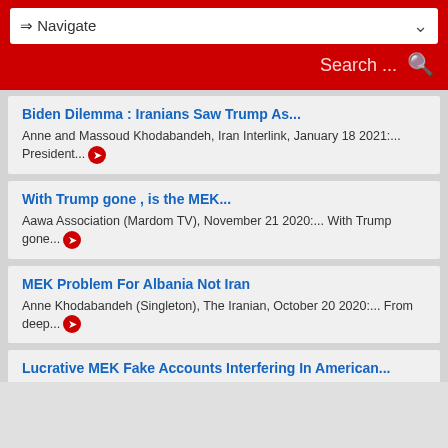⇒ Navigate | Search ...
Biden Dilemma : Iranians Saw Trump As...
Anne and Massoud Khodabandeh, Iran Interlink, January 18 2021:... President...
With Trump gone , is the MEK...
Aawa Association (Mardom TV), November 21 2020:... With Trump gone...
MEK Problem For Albania Not Iran
Anne Khodabandeh (Singleton), The Iranian, October 20 2020:... From deep...
Lucrative MEK Fake Accounts Interfering In American...
Paul Brian and Arthur Bloom, The American Conservative, (First Published...